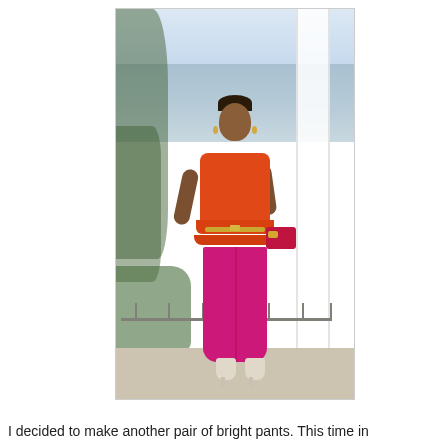[Figure (photo): A woman wearing a bright orange sleeveless top with ruffled peplum details, a thin gold belt, bright fuchsia/magenta cropped pants, and white platform heels. She carries a red clutch bag. She is posing outdoors on a terrace or balcony with a white column behind her, trees to the left, and a landscape view in the background.]
I decided to make another pair of bright pants. This time in